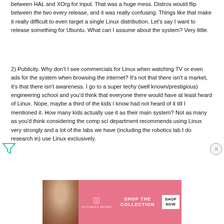between HAL and XOrg for input. That was a huge mess. Distros would flip between the two every release, and it was really confusing. Things like that make it really difficult to even target a single Linux distribution. Let's say I want to release something for Ubuntu. What can I assume about the system? Very little.
2) Publicity. Why don't I see commercials for Linux when watching TV or even ads for the system when browsing the internet? It's not that there isn't a market, it's that there isn't awareness. I go to a super techy (well known/prestigious) engineering school and you'd think that everyone there would have at least heard of Linux. Nope, maybe a third of the kids I know had not heard of it till I mentioned it. How many kids actually use it as their main system? Not as many as you'd think considering the comp sci department recommends using Linux very strongly and a lot of the labs we have (including the robotics lab I do research in) use Linux exclusively.
[Figure (photo): Victoria's Secret advertisement banner with a woman's photo on the left, VS logo in the center-left, 'SHOP THE COLLECTION' text, and a white 'SHOP NOW' button on the right. Pink background.]